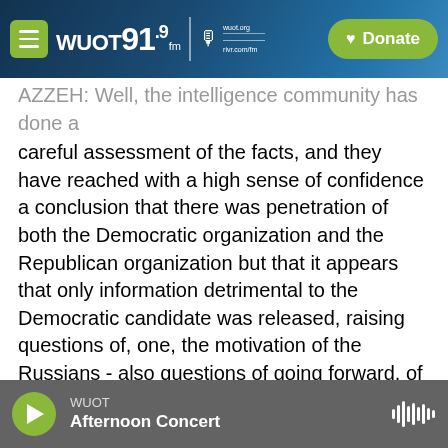WUOT 91.9 FM | wuot.org | Donate
AZZEH: Well, the intelligence community has done a careful assessment of the facts, and they have reached with a high sense of confidence a conclusion that there was penetration of both the Democratic organization and the Republican organization but that it appears that only information detrimental to the Democratic candidate was released, raising questions of, one, the motivation of the Russians - also questions of going forward, of the integrity of our campaign system not just in this past election but future elections.
So these are serious questions that have to be
WUOT | Afternoon Concert